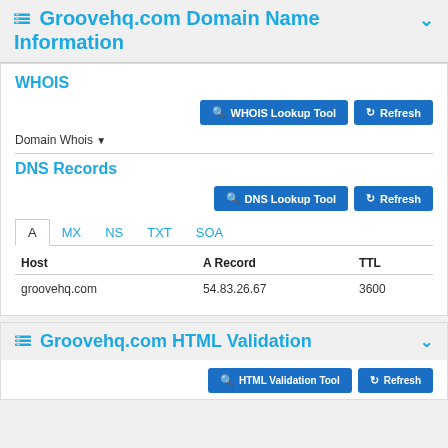Groovehq.com Domain Name Information
WHOIS
Domain Whois ▾
DNS Records
| Host | A Record | TTL |
| --- | --- | --- |
| groovehq.com | 54.83.26.67 | 3600 |
Groovehq.com HTML Validation